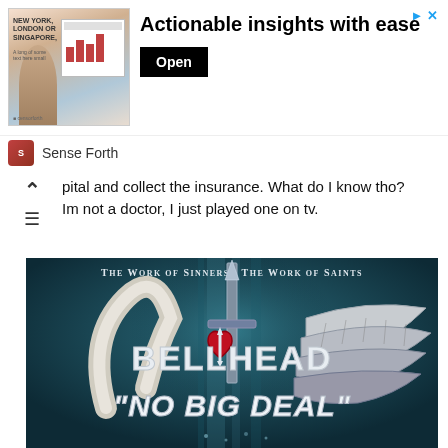[Figure (other): Advertisement banner for 'Sense Forth' with image of person at conference and text 'NEW YORK, LONDON OR SINGAPORE,' with headline 'Actionable insights with ease' and Open button]
pital and collect the insurance. What do I know tho? Im not a doctor, I just played one on tv.
[Figure (illustration): Album art for Bellhead 'No Big Deal' - dark teal background with a sword/trident, devil horn on left, angel wing on right, red heart with arrow, text reads 'THE WORK OF SINNERS · THE WORK OF SAINTS' at top, 'BELLHEAD' in large stylized letters, '"NO BIG DEAL"' at bottom]